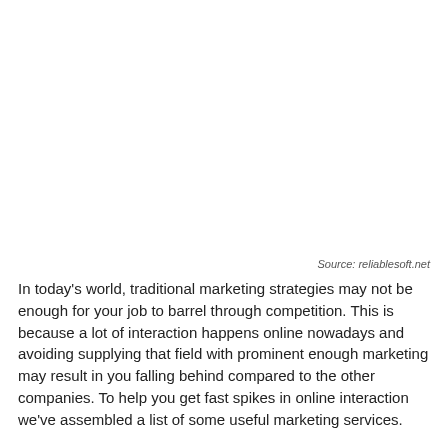Source: reliablesoft.net
In today's world, traditional marketing strategies may not be enough for your job to barrel through competition. This is because a lot of interaction happens online nowadays and avoiding supplying that field with prominent enough marketing may result in you falling behind compared to the other companies. To help you get fast spikes in online interaction we've assembled a list of some useful marketing services.